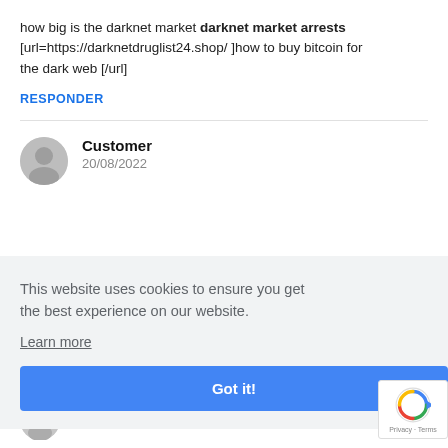how big is the darknet market darknet market arrests [url=https://darknetdruglist24.shop/ ]how to buy bitcoin for the dark web [/url]
RESPONDER
Customer
20/08/2022
This website uses cookies to ensure you get the best experience on our website.
Learn more
Got it!
Customer
20/08/2022